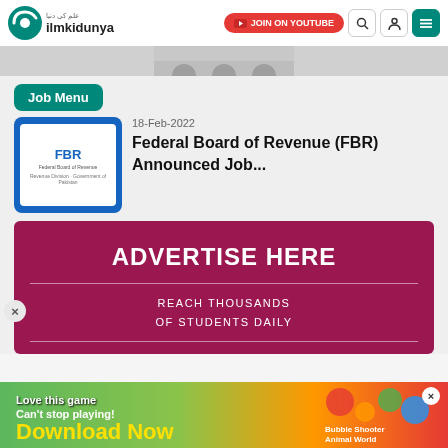ilmkidunya | علم کی دنیا — JOIN ON YOUTUBE
Job Menu
18-Feb-2022
Federal Board of Revenue (FBR) Announced Job...
[Figure (infographic): Advertise Here banner on dark red/maroon background reading: ADVERTISE HERE / REACH THOUSANDS OF STUDENTS DAILY]
[Figure (infographic): Bottom advertisement banner: Love this game Can't stop playing! Download Now — Bubble Shooter Animal World]